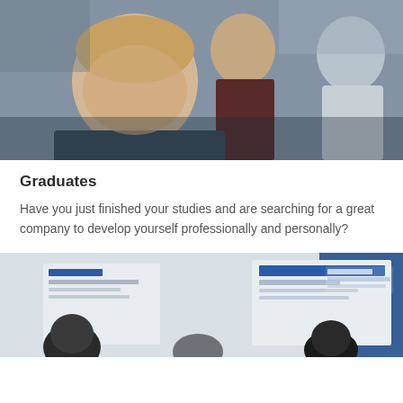[Figure (photo): Young male student in foreground looking downward intently, with two other male students visible in the background in what appears to be a classroom or workshop setting.]
Graduates
Have you just finished your studies and are searching for a great company to develop yourself professionally and personally?
[Figure (photo): People in a training or seminar room looking at display boards including one labeled 'KNX Training Centre' and another labeled 'Energy Distribution'.]